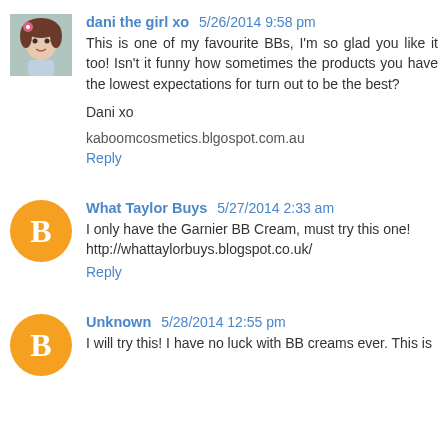dani the girl xo  5/26/2014 9:58 pm
This is one of my favourite BBs, I'm so glad you like it too! Isn't it funny how sometimes the products you have the lowest expectations for turn out to be the best?
Dani xo
kaboomcosmetics.blgospot.com.au
Reply
What Taylor Buys  5/27/2014 2:33 am
I only have the Garnier BB Cream, must try this one!
http://whattaylorbuys.blogspot.co.uk/
Reply
Unknown  5/28/2014 12:55 pm
I will try this! I have no luck with BB creams ever. This is